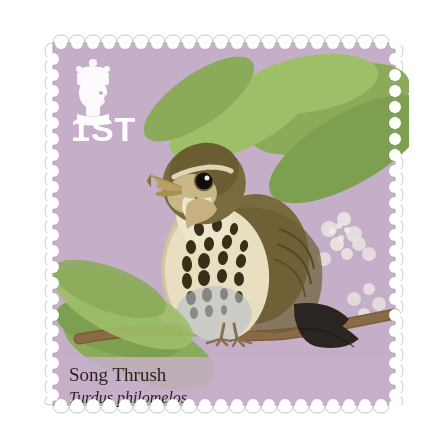[Figure (illustration): UK Royal Mail first class postage stamp featuring a Song Thrush (Turdus philomelos) perched on a branch with green leaves and white flowers, against a muted mauve/purple background. Upper left shows the Royal Cypher (Queen's silhouette in white). Lower left shows '1ST' denomination in white bold text. Lower left corner has bird name in dark text: 'Song Thrush' and italic 'Turdus philomelos'. The stamp has a perforated wavy edge border.]